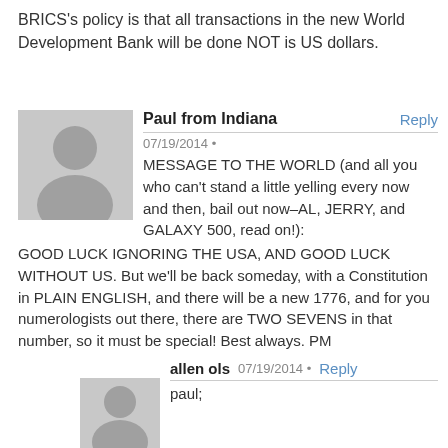BRICS's policy is that all transactions in the new World Development Bank will be done NOT is US dollars.
Paul from Indiana
07/19/2014 •
MESSAGE TO THE WORLD (and all you who can't stand a little yelling every now and then, bail out now–AL, JERRY, and GALAXY 500, read on!): GOOD LUCK IGNORING THE USA, AND GOOD LUCK WITHOUT US. But we'll be back someday, with a Constitution in PLAIN ENGLISH, and there will be a new 1776, and for you numerologists out there, there are TWO SEVENS in that number, so it must be special! Best always. PM
allen ols  07/19/2014 •
paul;